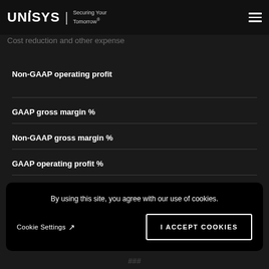UNISYS | Securing Your Tomorrow®
Cost reduction and other expense
Non-GAAP operating profit
GAAP gross margin %
Non-GAAP gross margin %
GAAP operating profit %
Non-GAAP operating profit %
By using this site, you agree with our use of cookies.
Cookie Settings  I ACCEPT COOKIES
###